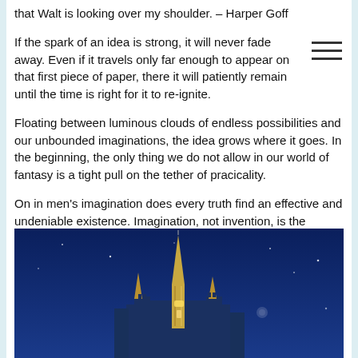that Walt is looking over my shoulder. – Harper Goff
If the spark of an idea is strong, it will never fade away. Even if it travels only far enough to appear on that first piece of paper, there it will patiently remain until the time is right for it to re-ignite.
Floating between luminous clouds of endless possibilities and our unbounded imaginations, the idea grows where it goes. In the beginning, the only thing we do not allow in our world of fantasy is a tight pull on the tether of pracicality.
On in men's imagination does every truth find an effective and undeniable existence. Imagination, not invention, is the supreme master of art as of life. – Joseph Conrad
[Figure (photo): Cinderella castle spire illuminated in gold against a deep blue night sky with stars]